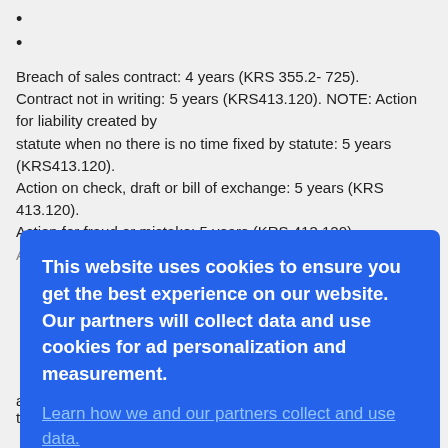Breach of sales contract: 4 years (KRS 355.2- 725).
Contract not in writing: 5 years (KRS413.120). NOTE: Action for liability created by
statute when no there is no time fixed by statute: 5 years (KRS413.120).
Action on check, draft or bill of exchange: 5 years (KRS 413.120).
Action for fraud or mistake: 5 years (KRS 413.120).
Actions not provided for by statute: 10 years (KRS 413.160).
[Figure (screenshot): Cookie consent banner overlay with blue background. Text reads: 'This website uses cookies to ensure you get the best experience on our website. Our partners will collect data and use cookies for ad personalization and measurement.' Link: 'Learn how we and our partners collect and use data.' OK button at bottom.]
after taken.